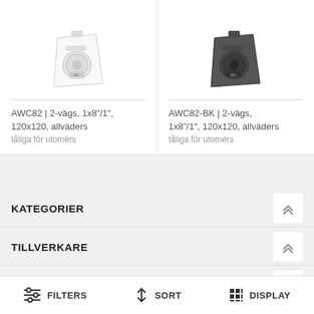[Figure (photo): White JBL AWC82 speaker, angled view from front-left]
AWC82 | 2-vägs, 1x8"/1", 120x120, allväders tåliga för utomèrs
[Figure (photo): Black JBL AWC82-BK speaker, angled view]
AWC82-BK | 2-vägs, 1x8"/1", 120x120, allväders tåliga för utomèrs
KATEGORIER
TILLVERKARE
POPULÄRA TAGGAR
FILTERS
SORT
DISPLAY